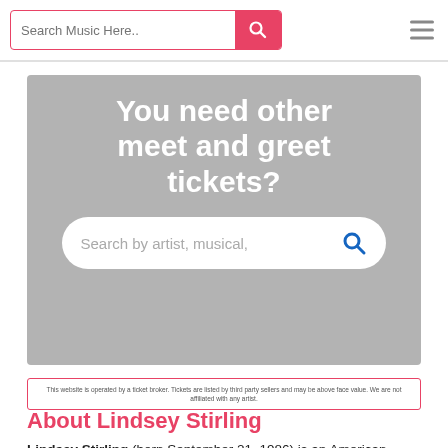Search Music Here..
[Figure (other): Gray promotional banner with white bold text 'You need other meet and greet tickets?' and a white rounded search bar with placeholder 'Search by artist, musical,' and a blue search icon]
This website is operated by a ticket broker. Tickets are listed by third party sellers and may be above face value. We are not affiliated with any artist.
About Lindsey Stirling
Lindsey Stirling (born September 21, 1986) is an American violinist, songwriter, and dancer. She